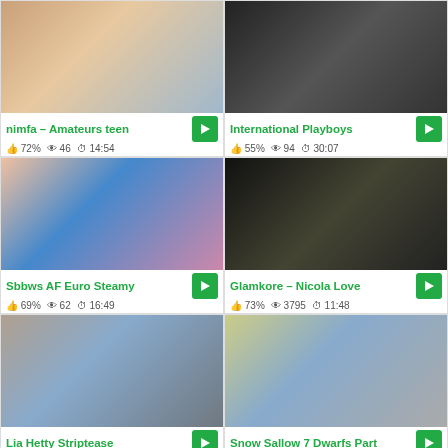[Figure (screenshot): Video thumbnail 1 - nimfa Amateurs teen]
nimfa – Amateurs teen | 72% | 46 views | 14:54
[Figure (screenshot): Video thumbnail 2 - International Playboys]
International Playboys | 55% | 94 views | 30:07
[Figure (screenshot): Video thumbnail 3 - Sbbws AF Euro Steamy]
Sbbws AF Euro Steamy | 69% | 62 views | 16:49
[Figure (screenshot): Video thumbnail 4 - Glamkore - Nicola Love]
Glamkore – Nicola Love | 73% | 3795 views | 11:48
[Figure (screenshot): Video thumbnail 5 - Lia Hetty Striptease]
Lia Hetty Striptease
[Figure (screenshot): Video thumbnail 6 - Snow Sallow 7 Dwarfs Part]
Snow Sallow 7 Dwarfs Part